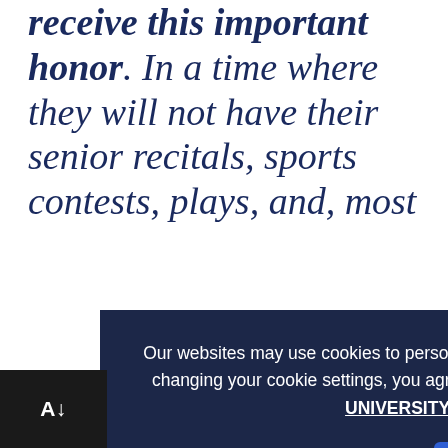receive this important honor. In a time where they will not have their senior recitals, sports contests, plays, and, most poignantly, their graduation, we plan to recognize them as the most accomplished students in the liberal arts and sciences across the country.
Our websites may use cookies to personalize and enhance your experience. By continuing without changing your cookie settings, you agree to this collection. For more information, please see our UNIVERSITY WEBSITES PRIVACY NOTICE.